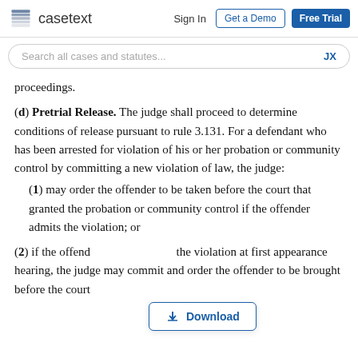casetext | Sign In | Get a Demo | Free Trial
Search all cases and statutes... JX
proceedings.
(d) Pretrial Release. The judge shall proceed to determine conditions of release pursuant to rule 3.131. For a defendant who has been arrested for violation of his or her probation or community control by committing a new violation of law, the judge:
(1) may order the offender to be taken before the court that granted the probation or community control if the offender admits the violation; or
(2) if the offender [Download] the violation at first appearance hearing, the judge may commit and order the offender to be brought before the court